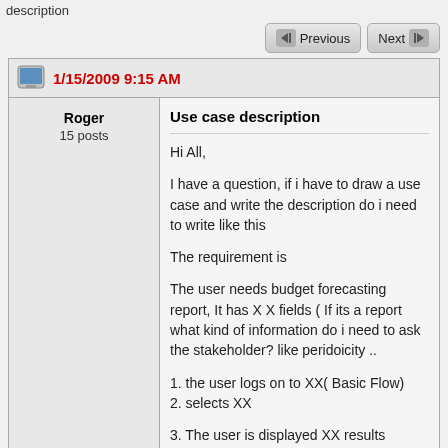description
Previous  Next
1/15/2009 9:15 AM
| Author | Content |
| --- | --- |
| Roger
15 posts | Use case description

Hi All,

I have a question, if i have to draw a use case and write the description do i need to write like this

The requirement is

The user needs budget forecasting report, It has X X fields ( If its a report what kind of information do i need to ask the stakeholder? like peridoicity ..

1. the user logs on to XX( Basic Flow)
2. selects XX

3. The user is displayed XX results

It also has Alternate Flow |